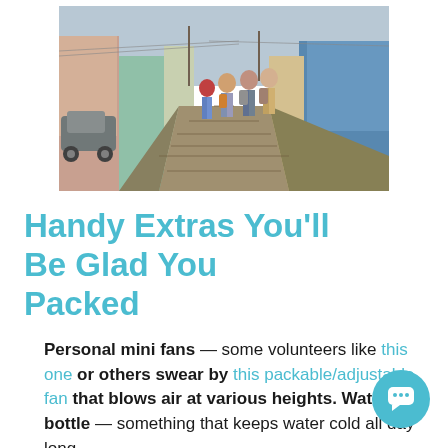[Figure (photo): Group of people with backpacks walking away on a cobblestone street in a colorful Latin American town. Cars and colorful buildings visible on both sides.]
Handy Extras You'll Be Glad You Packed
Personal mini fans — some volunteers like this one or others swear by this packable/adjustable fan that blows air at various heights. Water bottle — something that keeps water cold all day long